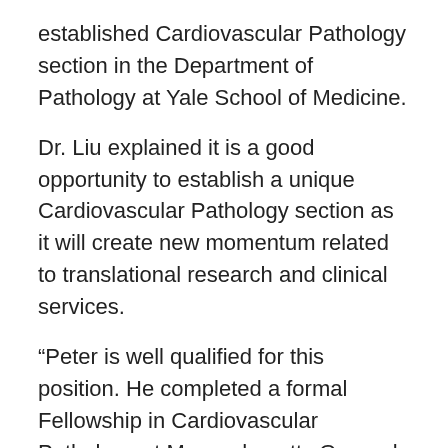established Cardiovascular Pathology section in the Department of Pathology at Yale School of Medicine.
Dr. Liu explained it is a good opportunity to establish a unique Cardiovascular Pathology section as it will create new momentum related to translational research and clinical services.
“Peter is well qualified for this position. He completed a formal Fellowship in Cardiovascular Pathology at Massachusetts General Hospital, and he has a successful translational program in vascular pathology research,” Dr. Liu said. “This new structure certainly will allow more robust clinical service as well as for additional translational and basic science research in this